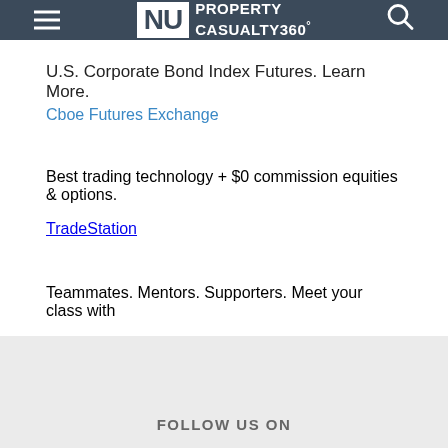NU PROPERTY CASUALTY 360°
U.S. Corporate Bond Index Futures. Learn More.
Cboe Futures Exchange
Best trading technology + $0 commission equities & options.
TradeStation
Teammates. Mentors. Supporters. Meet your class with
FOLLOW US ON
Terms of Service
Privacy Policy